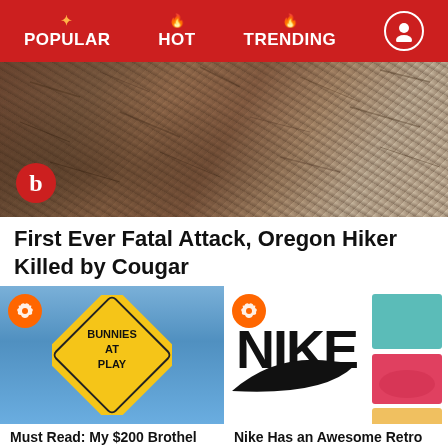POPULAR | HOT | TRENDING
[Figure (photo): Aerial/ground view of dry leaves, sticks, and rocky debris on a trail or forest floor. A Buzzfeed 'b' logo red circle in the lower left.]
First Ever Fatal Attack, Oregon Hiker Killed by Cougar
[Figure (photo): Yellow diamond-shaped road sign reading 'BUNNIES AT PLAY' against a blue sky background. An orange Buzzy icon in the top-left corner.]
Must Read: My $200 Brothel Blow Job is 'Blowing' Your Mind and Body Away
[Figure (photo): Nike logo (swoosh and wordmark) with images of Nike shoes and products on the right side. Orange Buzzy icon in top-left corner.]
Nike Has an Awesome Retro Policy For...